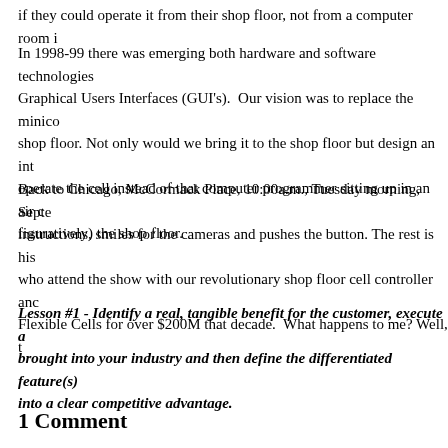if they could operate it from their shop floor, not from a computer room i
In 1998-99 there was emerging both hardware and software technologies Graphical Users Interfaces (GUI's). Our vision was to replace the minico shop floor. Not only would we bring it to the shop floor but design an int operate the cell instead of that computer programmer sitting up in an air c figuratively) the shop floor.
Back to Chicago, McCormack Place, 10:00a.m., Tuesday morning, Septe instructions, smiles for the cameras and pushes the button. The rest is his who attend the show with our revolutionary shop floor cell controller and Flexible Cells for over $200M that decade. What happens to me? Well, t
Lesson #1 - Identify a real, tangible benefit for the customer, execute a brought into your industry and then define the differentiated feature(s) into a clear competitive advantage.
1 Comment